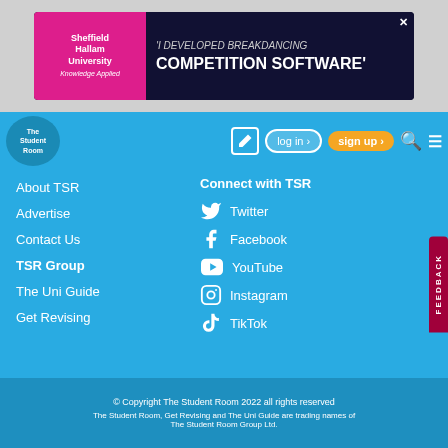[Figure (screenshot): Sheffield Hallam University advertisement banner: 'I DEVELOPED BREAKDANCING COMPETITION SOFTWARE']
[Figure (screenshot): The Student Room navigation bar with logo, edit icon, log in, sign up, search and menu buttons]
About TSR
Advertise
Contact Us
TSR Group
The Uni Guide
Get Revising
Connect with TSR
Twitter
Facebook
YouTube
Instagram
TikTok
[Figure (logo): Download on the App Store button]
[Figure (logo): Get it on Google Play button]
© Copyright The Student Room 2022 all rights reserved
The Student Room, Get Revising and The Uni Guide are trading names of The Student Room Group Ltd.